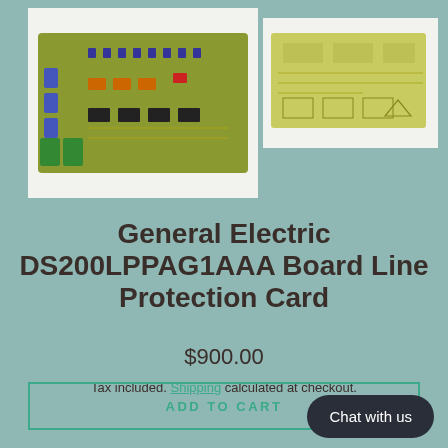[Figure (photo): Front view of General Electric DS200LPPAG1AAA PCB board showing components including capacitors, connectors, and ICs on green PCB]
[Figure (photo): Back/bottom view of General Electric DS200LPPAG1AAA PCB board showing solder side of green circuit board]
General Electric DS200LPPAG1AAA Board Line Protection Card
$900.00
Tax included. Shipping calculated at checkout.